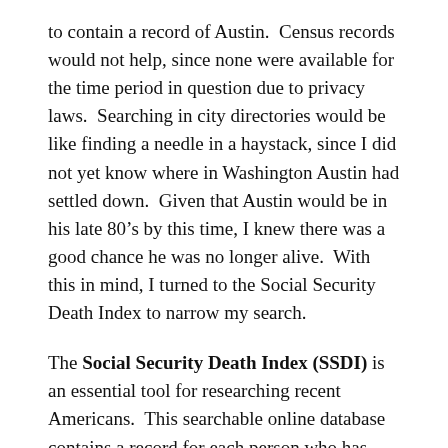to contain a record of Austin.  Census records would not help, since none were available for the time period in question due to privacy laws.  Searching in city directories would be like finding a needle in a haystack, since I did not yet know where in Washington Austin had settled down.  Given that Austin would be in his late 80’s by this time, I knew there was a good chance he was no longer alive.  With this in mind, I turned to the Social Security Death Index to narrow my search.
The Social Security Death Index (SSDI) is an essential tool for researching recent Americans.  This searchable online database contains a record for each person who has died since 1936, was given a social security number and whose death was reported to the Social Security Administration.  Each index record